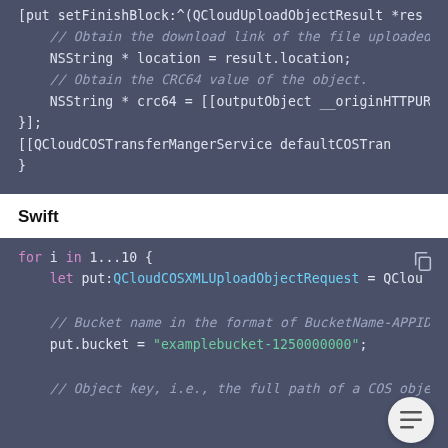[Figure (screenshot): Objective-C code block showing setFinishBlock with QCloudUploadObjectResult, obtaining download link and CRC64 value, then calling QCloudCOSTransferMangerService defaultCOSTran]
Swift
[Figure (screenshot): Swift code block showing a for loop (for i in 1...10), let put:QCloudCOSXMLUploadObjectRequest = QClou, put.bucket = "examplebucket-1250000000", with comments about bucket name format and object key]